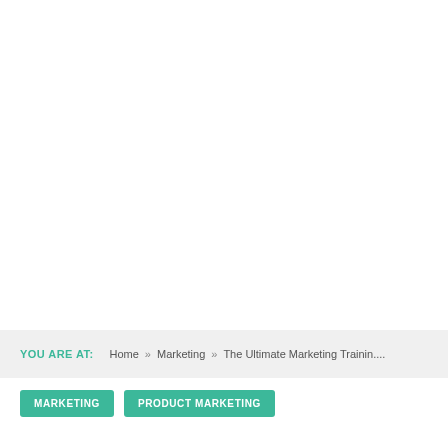YOU ARE AT: Home » Marketing » The Ultimate Marketing Trainin....
MARKETING
PRODUCT MARKETING